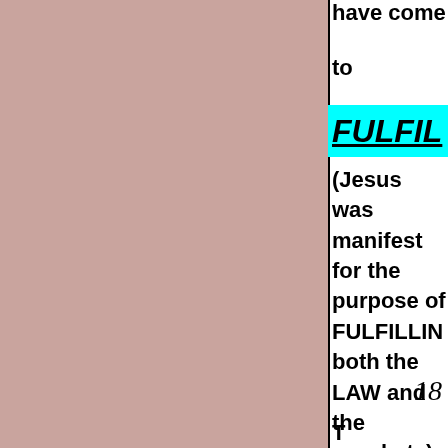have come to FULFILL (Jesus was manifest for the purpose of FULFILLING both the LAW and the prophets) 18
18